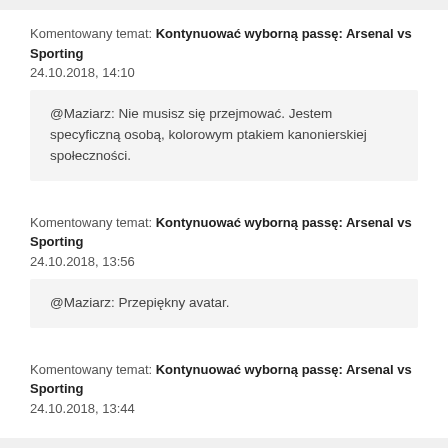Komentowany temat: Kontynuować wyborną passę: Arsenal vs Sporting
24.10.2018, 14:10
@Maziarz: Nie musisz się przejmować. Jestem specyficzną osobą, kolorowym ptakiem kanonierskiej społeczności.
Komentowany temat: Kontynuować wyborną passę: Arsenal vs Sporting
24.10.2018, 13:56
@Maziarz: Przepiękny avatar.
Komentowany temat: Kontynuować wyborną passę: Arsenal vs Sporting
24.10.2018, 13:44